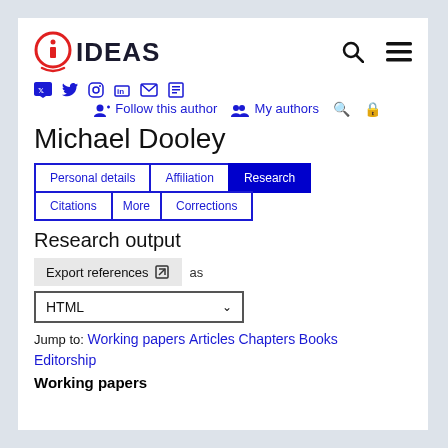[Figure (logo): IDEAS logo with circular i icon in red and IDEAS text in dark blue/black]
Michael Dooley
Personal details | Affiliation | Research | Citations | More | Corrections
Research output
Export references as HTML
Jump to: Working papers Articles Chapters Books Editorship
Working papers